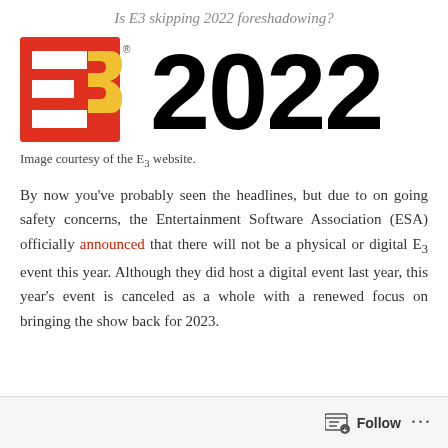Is E3 skipping 2022 foreshadowing?
[Figure (logo): E3 2022 logo: red and yellow E3 logo on left, bold black '2022' text on right]
Image courtesy of the E3 website.
By now you've probably seen the headlines, but due to on going safety concerns, the Entertainment Software Association (ESA) officially announced that there will not be a physical or digital E3 event this year. Although they did host a digital event last year, this year's event is canceled as a whole with a renewed focus on bringing the show back for 2023.
Follow ...